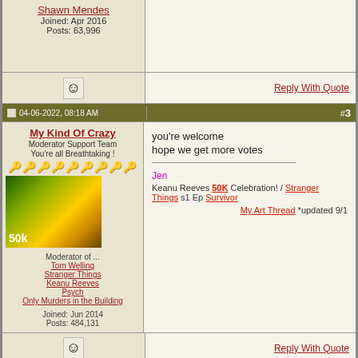Shawn Mendes
Joined: Apr 2016
Posts: 63,996
Reply With Quote
04-06-2022, 08:18 AM  #3
My Kind Of Crazy
Moderator Support Team
You're all Breathtaking !
Moderator of ...
Tom Welling
Stranger Things
Keanu Reeves
Psych
Only Murders in the Building
Joined: Jun 2014
Posts: 484,131
you're welcome
hope we get more votes

Jen
Keanu Reeves 50K Celebration! / Stranger Things s1 Ep Survivor
My Art Thread *updated 9/1
Reply With Quote